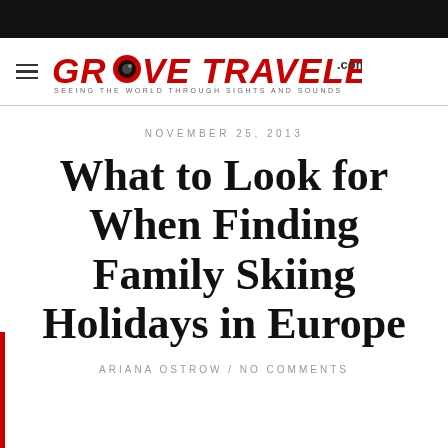GROOVETRAVELER.com — SEEING THE WORLD THROUGH SIGHTS AND SOUNDS
NOVEMBER 25, 2013
What to Look for When Finding Family Skiing Holidays in Europe
ARIANA OSTROW / NO COMMENTS